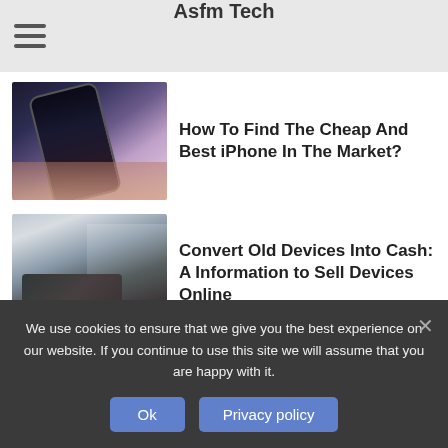Asfm Tech
[Figure (photo): Hand holding an iPhone with home screen showing app icons]
How To Find The Cheap And Best iPhone In The Market?
[Figure (photo): Person working on a laptop at a desk with plants and coffee cup in background]
Convert Old Devices Into Cash: A Information to Sell Devices Online
[Figure (photo): Partial view of devices on a light surface]
We use cookies to ensure that we give you the best experience on our website. If you continue to use this site we will assume that you are happy with it.
Ok
Privacy policy